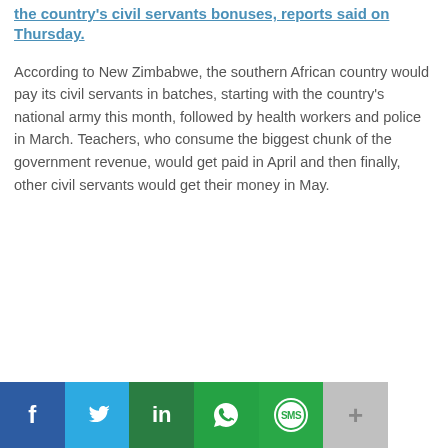the country's civil servants bonuses, reports said on Thursday.
According to New Zimbabwe, the southern African country would pay its civil servants in batches, starting with the country's national army this month, followed by health workers and police in March. Teachers, who consume the biggest chunk of the government revenue, would get paid in April and then finally, other civil servants would get their money in May.
f  [Twitter bird]  in  [WhatsApp]  SMS  +